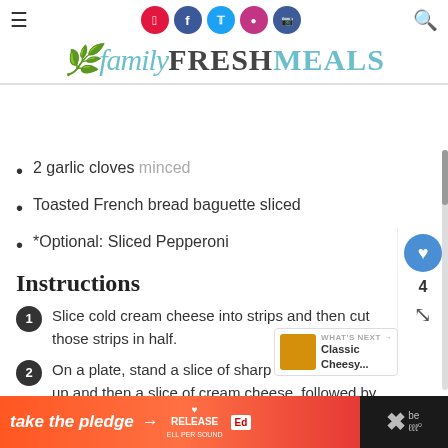familyFRESHMEALS
2 garlic cloves minced
Toasted French bread baguette sliced
*Optional: Sliced Pepperoni
Instructions
1. Slice cold cream cheese into strips and then cut those strips in half.
2. On a plate, stand a slice of sharp cheddar cheese up and then a slice of cream cheese, followed by another slice of sharp. Do this pattern around the plate, forming the ring.
3. Next fill in the center of the ring with layers of
[Figure (infographic): Ad banner reading 'take the pledge' with arrow and RELEASE branding]